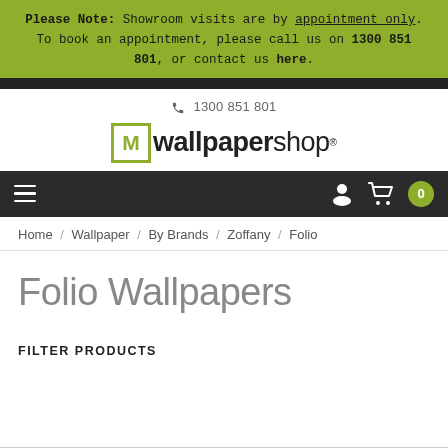Please Note: Showroom visits are by appointment only. To book an appointment, please call us on 1300 851 801, or contact us here.
[Figure (logo): Wallpapershop logo with stylized M in green box]
1300 851 801
Home / Wallpaper / By Brands / Zoffany / Folio
Folio Wallpapers
FILTER PRODUCTS